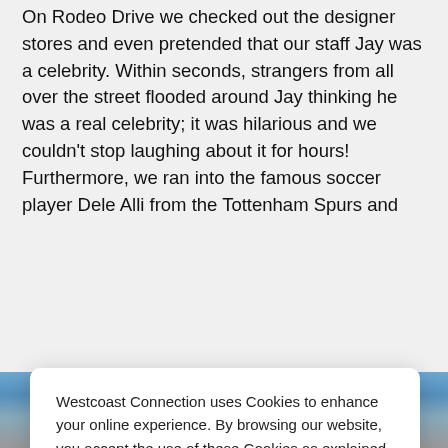On Rodeo Drive we checked out the designer stores and even pretended that our staff Jay was a celebrity. Within seconds, strangers from all over the street flooded around Jay thinking he was a real celebrity; it was hilarious and we couldn't stop laughing about it for hours! Furthermore, we ran into the famous soccer player Dele Alli from the Tottenham Spurs and
Westcoast Connection uses Cookies to enhance your online experience. By browsing our website, you accept the use of these Cookies as explained in our Privacy Policy.
I Understand
[Figure (photo): Group photo of teenagers/young people outdoors, partially visible at bottom of page]